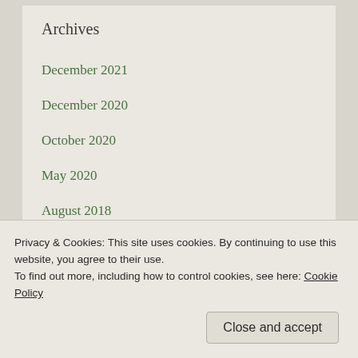Archives
December 2021
December 2020
October 2020
May 2020
August 2018
January 2018
August 2017
July 2017
Privacy & Cookies: This site uses cookies. By continuing to use this website, you agree to their use.
To find out more, including how to control cookies, see here: Cookie Policy
Close and accept